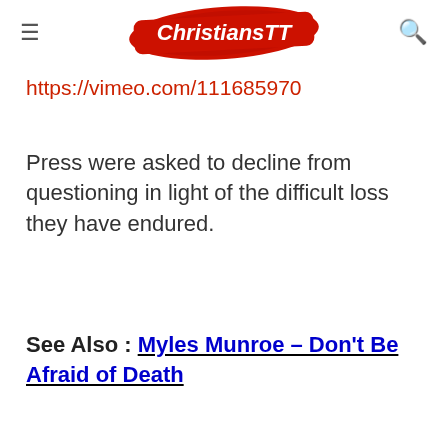ChristiansTT
https://vimeo.com/111685970
Press were asked to decline from questioning in light of the difficult loss they have endured.
See Also : Myles Munroe – Don't Be Afraid of Death